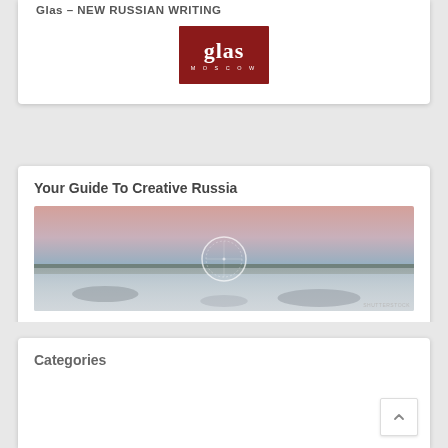Glas — NEW RUSSIAN WRITING
[Figure (logo): Glas Moscow logo — dark red/maroon background with white stylized 'glas' text and 'MOSCOW' below]
Your Guide To Creative Russia
[Figure (photo): Misty landscape photo with pink/mauve sky, treeline silhouette and fog, with a circular play button overlay in the center]
Categories